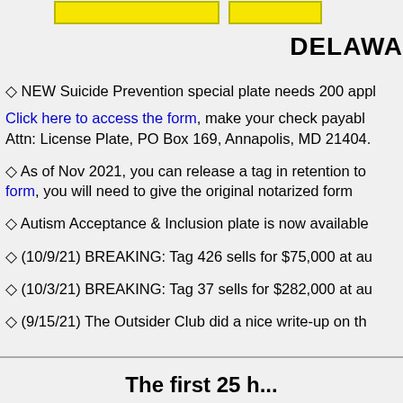[Figure (other): Two yellow buttons at top of page (partially visible)]
DELAWA
◇ NEW Suicide Prevention special plate needs 200 appl Click here to access the form, make your check payabl Attn: License Plate, PO Box 169, Annapolis, MD 21404.
◇ As of Nov 2021, you can release a tag in retention to form, you will need to give the original notarized form
◇ Autism Acceptance & Inclusion plate is now available
◇ (10/9/21) BREAKING: Tag 426 sells for $75,000 at au
◇ (10/3/21) BREAKING: Tag 37 sells for $282,000 at au
◇ (9/15/21) The Outsider Club did a nice write-up on th
The first 25 h...